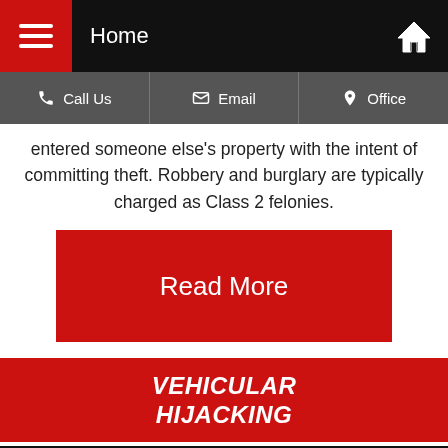Home
Call Us | Email | Office
entered someone else's property with the intent of committing theft. Robbery and burglary are typically charged as Class 2 felonies.
Read More
VEHICULAR HIJACKING
[Figure (photo): Dark image of hands gripping a car steering wheel or door handle, suggesting vehicular hijacking]